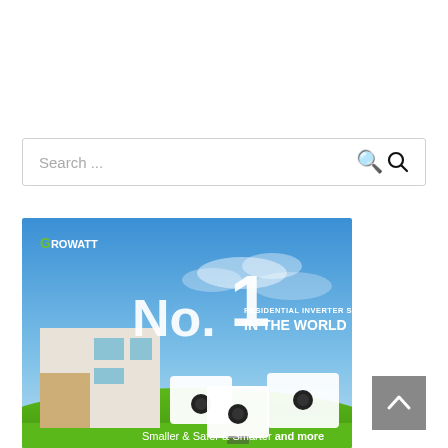[Figure (screenshot): Search bar with placeholder text 'Search ...' and a magnifying glass icon on the right]
[Figure (illustration): Growatt advertisement banner showing solar inverter products against a blue sky with a modern house. Text reads 'No. 1 RESIDENTIAL INVERTER SUPPLIER IN THE WORLD' and 'Smaller & Safer & Smarter and more'. Growatt logo at top left.]
[Figure (other): Back to top button - grey square with white upward chevron arrow]